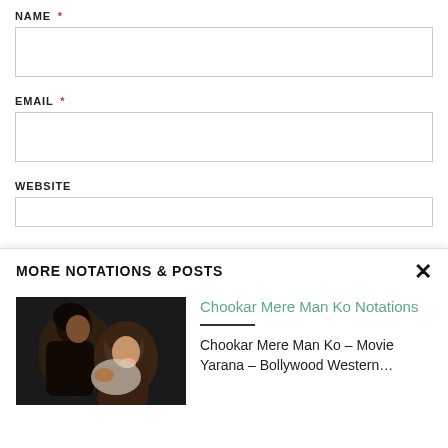NAME *
EMAIL *
WEBSITE
MORE NOTATIONS & POSTS
[Figure (photo): Thumbnail of a Bollywood movie scene showing two people close together in a dark setting]
Chookar Mere Man Ko Notations
Chookar Mere Man Ko – Movie Yarana – Bollywood Western…